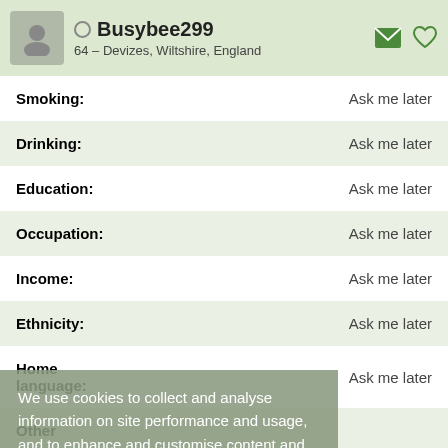Busybee299 – 64 – Devizes, Wiltshire, England
Smoking: Ask me later
Drinking: Ask me later
Education: Ask me later
Occupation: Ask me later
Income: Ask me later
Ethnicity: Ask me later
Home language: Ask me later
Other
We use cookies to collect and analyse information on site performance and usage, and to enhance and customise content and advertisements. By clicking "OK" or clicking into any content on this site you agree to allow cookies to be placed. To find out more or to change your cookie settings, visit the cookies section of our Privacy Policy.
OK